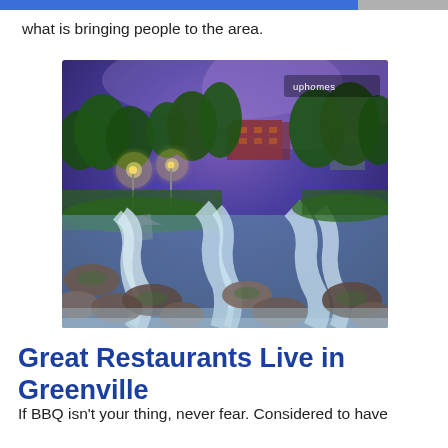what is bringing people to the area.
[Figure (photo): Scenic night photo of a waterfall flowing over rocks in a park setting in Greenville, with illuminated trees and a brick building in the background under a purple twilight sky. Watermarked with 'uphomes' logo in upper right.]
Great Restaurants Live in Greenville
If BBQ isn't your thing, never fear. Considered to have